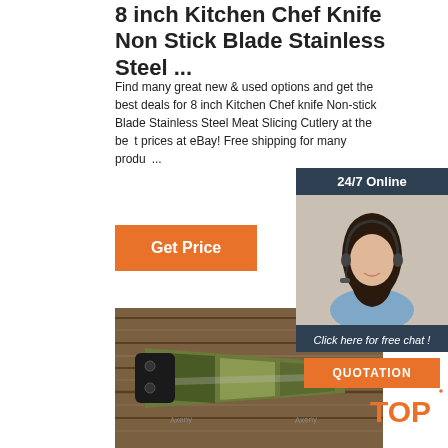8 inch Kitchen Chef Knife Non Stick Blade Stainless Steel ...
Find many great new & used options and get the best deals for 8 inch Kitchen Chef knife Non-stick Blade Stainless Steel Meat Slicing Cutlery at the best prices at eBay! Free shipping for many produ...
[Figure (other): 24/7 Online chat widget with photo of female customer service agent wearing headset, dark header, and orange QUOTATION button]
[Figure (photo): Product photo: camouflage-patterned folding knife on wooden surface]
[Figure (other): TOP badge with orange dots decoration]
Get Price
Click here for free chat !
QUOTATION